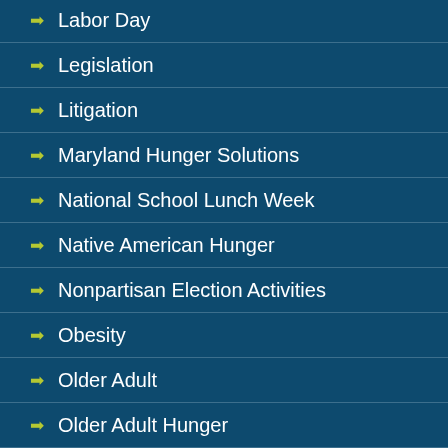Labor Day
Legislation
Litigation
Maryland Hunger Solutions
National School Lunch Week
Native American Hunger
Nonpartisan Election Activities
Obesity
Older Adult
Older Adult Hunger
P-EBT